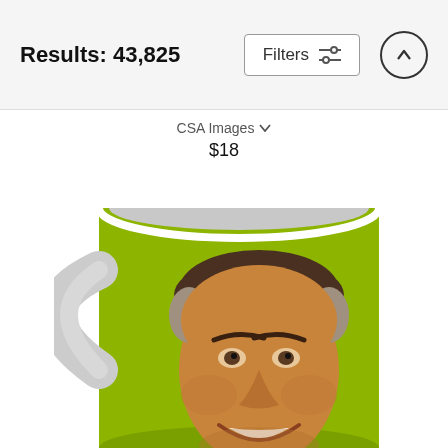Results: 43,825
Filters
CSA Images
$18
[Figure (photo): A white ceramic mug with a lime green wrap featuring a vintage-style illustrated portrait of a smiling middle-aged man with dark hair.]